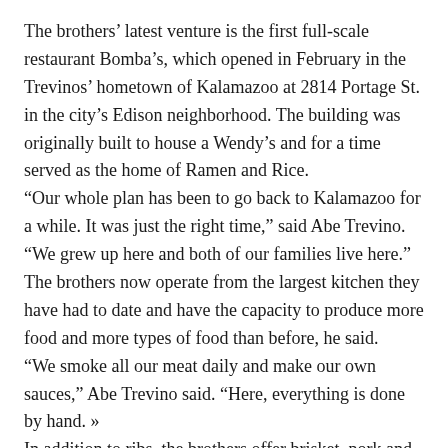The brothers' latest venture is the first full-scale restaurant Bomba's, which opened in February in the Trevinos' hometown of Kalamazoo at 2814 Portage St. in the city's Edison neighborhood. The building was originally built to house a Wendy's and for a time served as the home of Ramen and Rice.
“Our whole plan has been to go back to Kalamazoo for a while. It was just the right time,” said Abe Trevino. “We grew up here and both of our families live here.”
The brothers now operate from the largest kitchen they have had to date and have the capacity to produce more food and more types of food than before, he said.
“We smoke all our meat daily and make our own sauces,” Abe Trevino said. “Here, everything is done by hand. »
In addition to ribs, the brothers offer brisket, pork and chicken